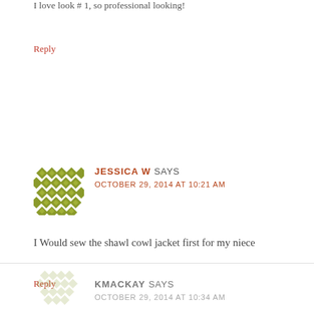I love look # 1, so professional looking!
Reply
[Figure (illustration): Decorative avatar icon for Jessica W comment — olive green geometric diamond/cross pattern]
JESSICA W SAYS
OCTOBER 29, 2014 AT 10:21 AM
I Would sew the shawl cowl jacket first for my niece
Reply
[Figure (illustration): Decorative avatar icon for KMACKAY comment — olive green geometric pattern, partially visible]
KMACKAY SAYS
OCTOBER 29, 2014 AT 10:34 AM